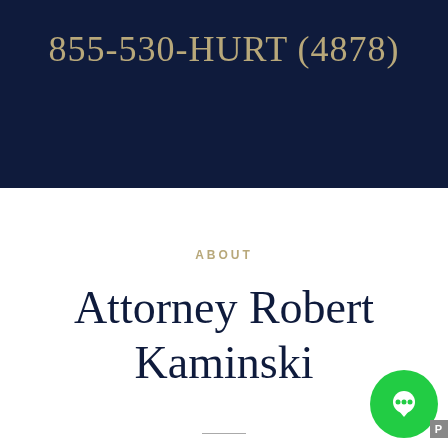855-530-HURT (4878)
ABOUT
Attorney Robert Kaminski